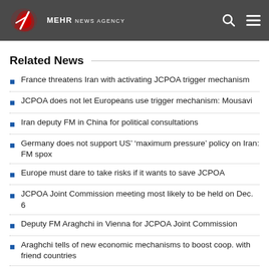MEHR NEWS AGENCY
Related News
France threatens Iran with activating JCPOA trigger mechanism
JCPOA does not let Europeans use trigger mechanism: Mousavi
Iran deputy FM in China for political consultations
Germany does not support US' 'maximum pressure' policy on Iran: FM spox
Europe must dare to take risks if it wants to save JCPOA
JCPOA Joint Commission meeting most likely to be held on Dec. 6
Deputy FM Araghchi in Vienna for JCPOA Joint Commission
Araghchi tells of new economic mechanisms to boost coop. with friend countries
US envoy in favor of sanctioning Europe-Iran Forum participants